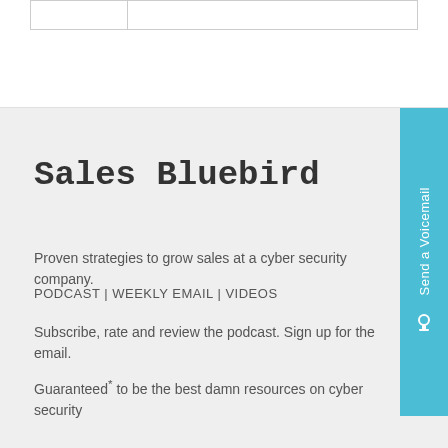|  |  |
Sales Bluebird
Proven strategies to grow sales at a cyber security company.
PODCAST | WEEKLY EMAIL | VIDEOS
Subscribe, rate and review the podcast. Sign up for the email.
Guaranteed* to be the best damn resources on cyber security